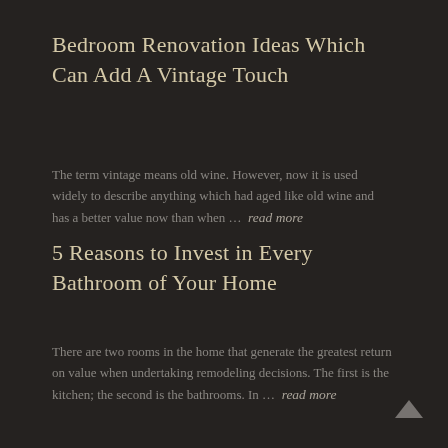Bedroom Renovation Ideas Which Can Add A Vintage Touch
The term vintage means old wine. However, now it is used widely to describe anything which had aged like old wine and has a better value now than when … read more
5 Reasons to Invest in Every Bathroom of Your Home
There are two rooms in the home that generate the greatest return on value when undertaking remodeling decisions. The first is the kitchen; the second is the bathrooms. In … read more